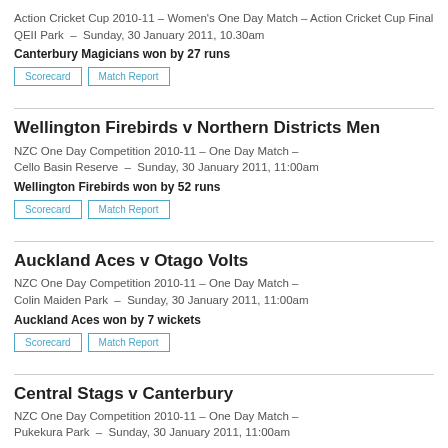Action Cricket Cup 2010-11 – Women's One Day Match – Action Cricket Cup Final
QEII Park – Sunday, 30 January 2011, 10.30am
Canterbury Magicians won by 27 runs
Wellington Firebirds v Northern Districts Men
NZC One Day Competition 2010-11 – One Day Match –
Cello Basin Reserve – Sunday, 30 January 2011, 11:00am
Wellington Firebirds won by 52 runs
Auckland Aces v Otago Volts
NZC One Day Competition 2010-11 – One Day Match –
Colin Maiden Park – Sunday, 30 January 2011, 11:00am
Auckland Aces won by 7 wickets
Central Stags v Canterbury
NZC One Day Competition 2010-11 – One Day Match –
Pukekura Park – Sunday, 30 January 2011, 11:00am